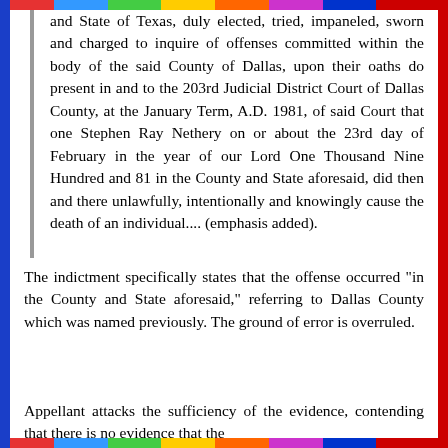and State of Texas, duly elected, tried, impaneled, sworn and charged to inquire of offenses committed within the body of the said County of Dallas, upon their oaths do present in and to the 203rd Judicial District Court of Dallas County, at the January Term, A.D. 1981, of said Court that one Stephen Ray Nethery on or about the 23rd day of February in the year of our Lord One Thousand Nine Hundred and 81 in the County and State aforesaid, did then and there unlawfully, intentionally and knowingly cause the death of an individual.... (emphasis added).
The indictment specifically states that the offense occurred "in the County and State aforesaid," referring to Dallas County which was named previously. The ground of error is overruled.
Appellant attacks the sufficiency of the evidence, contending that there is no evidence that the